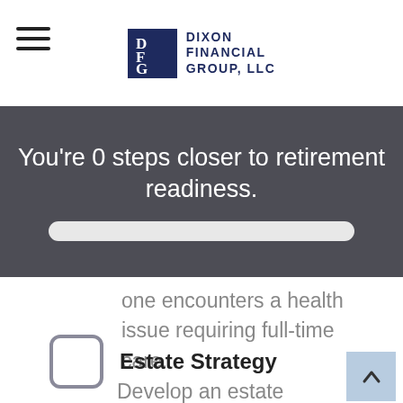Dixon Financial Group, LLC
You're 0 steps closer to retirement readiness.
one encounters a health issue requiring full-time care.
Estate Strategy
Develop an estate